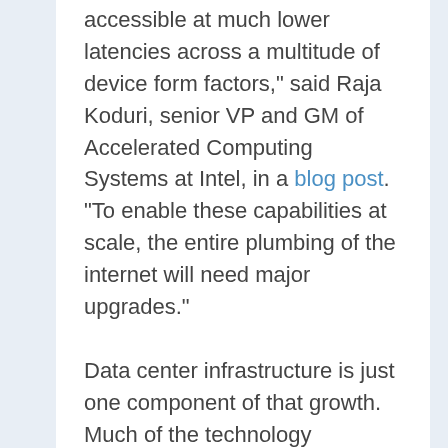accessible at much lower latencies across a multitude of device form factors," said Raja Koduri, senior VP and GM of Accelerated Computing Systems at Intel, in a blog post. "To enable these capabilities at scale, the entire plumbing of the internet will need major upgrades."
Data center infrastructure is just one component of that growth. Much of the technology innovation to support the metaverse will be seen in processing power and networking. The RSC is Meta's first pass at supercomputing infrastructure for the metaverse, but it